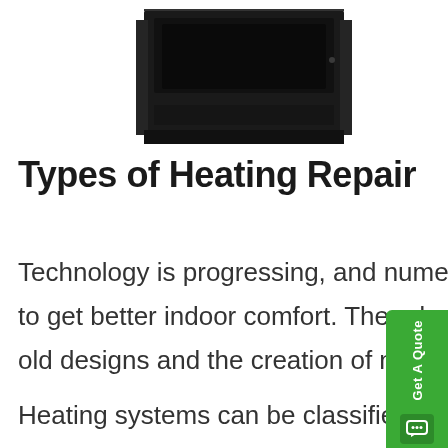[Figure (photo): A black metal furnace/heating unit viewed from above and front, showing a dark rectangular box with an open top compartment.]
Types of Heating Repair
Technology is progressing, and numerous developments have been performed to get better indoor comfort. The advancements have led to the improvement in old designs and the creation of new ones.
Heating systems can be classified into...